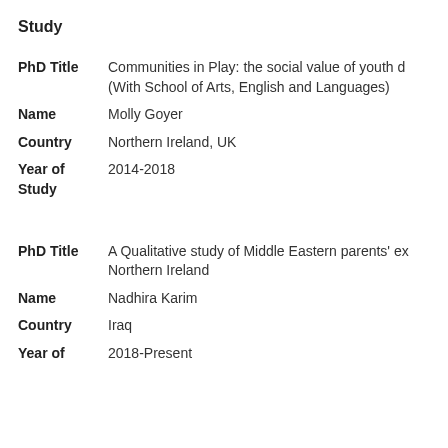Study
PhD Title: Communities in Play: the social value of youth d... (With School of Arts, English and Languages)
Name: Molly Goyer
Country: Northern Ireland, UK
Year of Study: 2014-2018
PhD Title: A Qualitative study of Middle Eastern parents' ex... Northern Ireland
Name: Nadhira Karim
Country: Iraq
Year of: 2018-Present